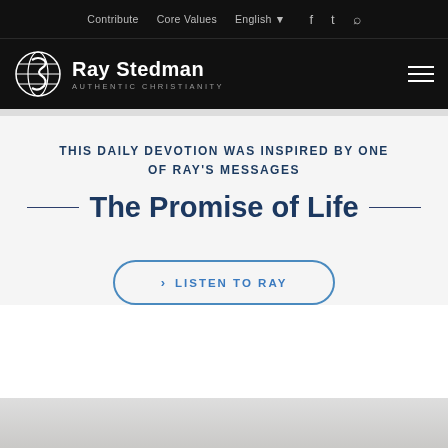Contribute   Core Values   English   [social icons]
[Figure (logo): Ray Stedman Authentic Christianity logo — circular globe/S icon with white text 'Ray Stedman' and subtitle 'AUTHENTIC CHRISTIANITY' on black bar]
THIS DAILY DEVOTION WAS INSPIRED BY ONE OF RAY'S MESSAGES
The Promise of Life
› LISTEN TO RAY
[Figure (photo): Partial faded photograph at bottom of page]